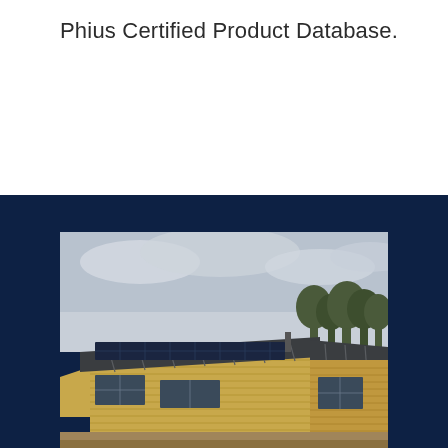Phius Certified Product Database.
[Figure (photo): Exterior photo of a modern house with yellow/natural wood siding, metal standing-seam roof with solar panels installed, large windows, surrounded by trees under a cloudy sky.]